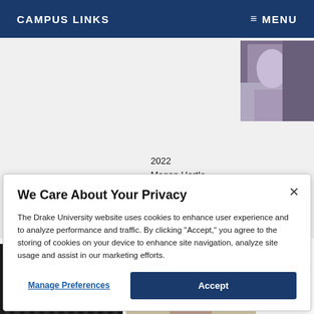CAMPUS LINKS   ≡ MENU
[Figure (photo): Partial photo of a person in patterned clothing, top-right corner]
2022
Megan Hartle
[Figure (photo): Dark curtain/background photo, bottom-left]
[Figure (photo): Person's head partially visible against beige background]
We Care About Your Privacy
The Drake University website uses cookies to enhance user experience and to analyze performance and traffic. By clicking "Accept," you agree to the storing of cookies on your device to enhance site navigation, analyze site usage and assist in our marketing efforts.
Manage Preferences
Accept